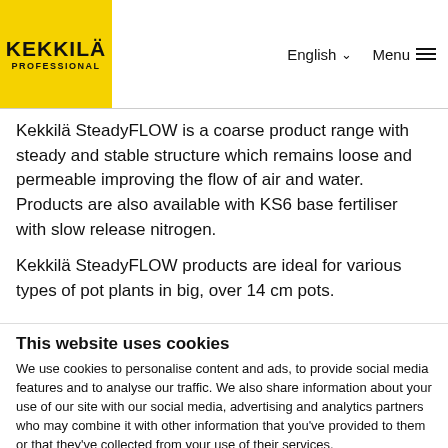KEKKILÄ PROFESSIONAL | English | Menu
Kekkilä SteadyFLOW is a coarse product range with steady and stable structure which remains loose and permeable improving the flow of air and water. Products are also available with KS6 base fertiliser with slow release nitrogen.
Kekkilä SteadyFLOW products are ideal for various types of pot plants in big, over 14 cm pots.
This website uses cookies
We use cookies to personalise content and ads, to provide social media features and to analyse our traffic. We also share information about your use of our site with our social media, advertising and analytics partners who may combine it with other information that you've provided to them or that they've collected from your use of their services.
Use necessary cookies only
Allow all cookies
Show details